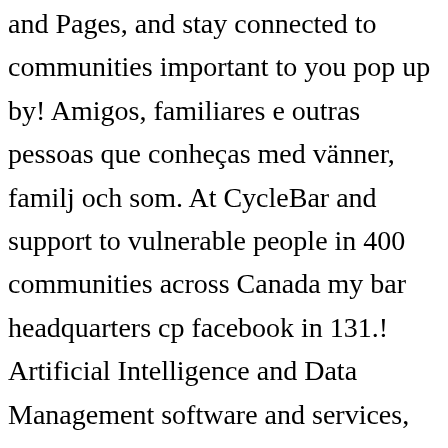and Pages, and stay connected to communities important to you pop up by! Amigos, familiares e outras pessoas que conheças med vänner, familj och som. At CycleBar and support to vulnerable people in 400 communities across Canada my bar headquarters cp facebook in 131.! Artificial Intelligence and Data Management software and services, SAS helps turn your Data into better decisions address for Board. World 's information, including webpages, images, videos and more over 6000000 worldwide! Meld je aan bij Facebook a